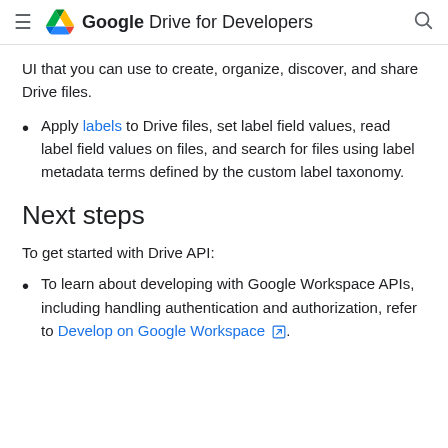Google Drive for Developers
UI that you can use to create, organize, discover, and share Drive files.
Apply labels to Drive files, set label field values, read label field values on files, and search for files using label metadata terms defined by the custom label taxonomy.
Next steps
To get started with Drive API:
To learn about developing with Google Workspace APIs, including handling authentication and authorization, refer to Develop on Google Workspace.